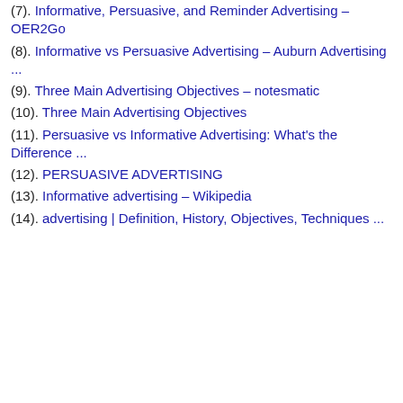(7). Informative, Persuasive, and Reminder Advertising – OER2Go
(8). Informative vs Persuasive Advertising – Auburn Advertising ...
(9). Three Main Advertising Objectives – notesmatic
(10). Three Main Advertising Objectives
(11). Persuasive vs Informative Advertising: What's the Difference ...
(12). PERSUASIVE ADVERTISING
(13). Informative advertising – Wikipedia
(14). advertising | Definition, History, Objectives, Techniques ...